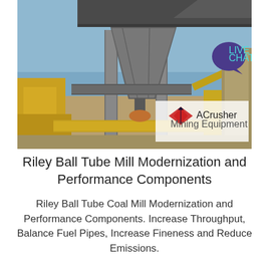[Figure (photo): Outdoor industrial photo of a ball tube mill or coal processing equipment — large metal hopper/chute structure on pillars with conveyor belts and yellow machinery in a mining yard. ACrusher Mining Equipment logo overlaid in lower right of photo.]
Riley Ball Tube Mill Modernization and Performance Components
Riley Ball Tube Coal Mill Modernization and Performance Components. Increase Throughput, Balance Fuel Pipes, Increase Fineness and Reduce Emissions.